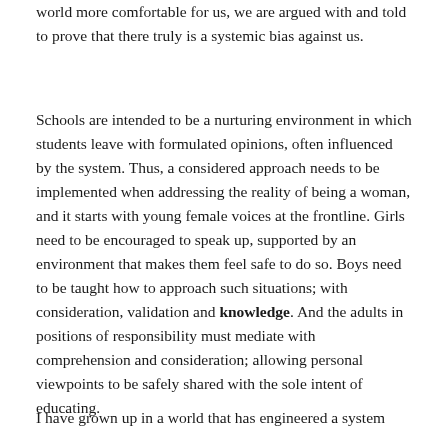world more comfortable for us, we are argued with and told to prove that there truly is a systemic bias against us.
Schools are intended to be a nurturing environment in which students leave with formulated opinions, often influenced by the system. Thus, a considered approach needs to be implemented when addressing the reality of being a woman, and it starts with young female voices at the frontline. Girls need to be encouraged to speak up, supported by an environment that makes them feel safe to do so. Boys need to be taught how to approach such situations; with consideration, validation and knowledge. And the adults in positions of responsibility must mediate with comprehension and consideration; allowing personal viewpoints to be safely shared with the sole intent of educating.
I have grown up in a world that has engineered a system